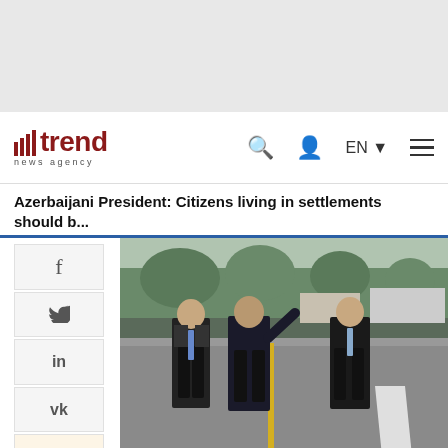trend news agency
Azerbaijani President: Citizens living in settlements should b...
[Figure (photo): Three men in dark suits walking together on a newly paved road. Trees and buildings visible in the background. A yellow center line and white road marking are visible on the road surface.]
f (Facebook share button)
Twitter share button
in (LinkedIn share button)
VK share button
OK (Odnoklassniki share button)